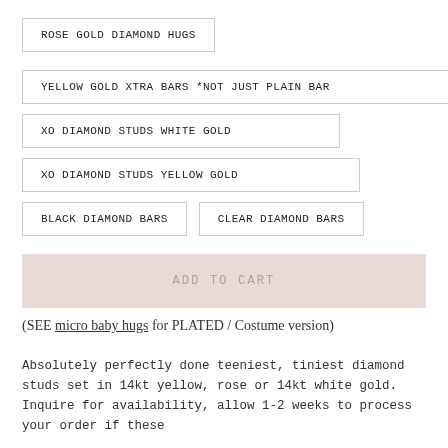ROSE GOLD DIAMOND HUGS
YELLOW GOLD XTRA BARS *NOT JUST PLAIN BAR
XO DIAMOND STUDS WHITE GOLD
XO DIAMOND STUDS YELLOW GOLD
BLACK DIAMOND BARS
CLEAR DIAMOND BARS
ADD TO CART
(SEE micro baby hugs for PLATED / Costume version)
Absolutely perfectly done teeniest, tiniest diamond studs set in 14kt yellow, rose or 14kt white gold.  Inquire for availability, allow 1-2 weeks to process your order if these